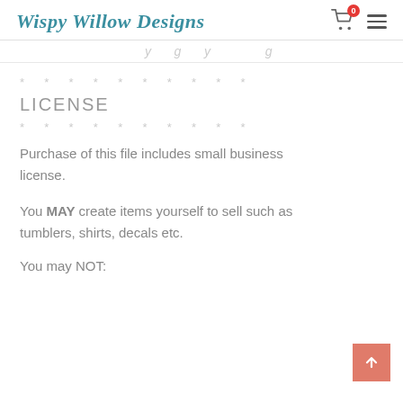Wispy Willow Designs
* * * * * * * * * *
LICENSE
* * * * * * * * * *
Purchase of this file includes small business license.
You MAY create items yourself to sell such as tumblers, shirts, decals etc.
You may NOT: